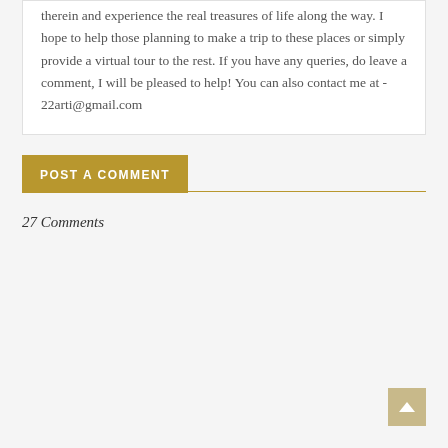therein and experience the real treasures of life along the way. I hope to help those planning to make a trip to these places or simply provide a virtual tour to the rest. If you have any queries, do leave a comment, I will be pleased to help! You can also contact me at - 22arti@gmail.com
POST A COMMENT
27 Comments